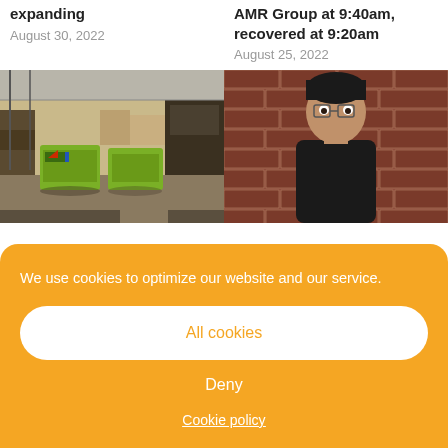expanding
August 30, 2022
AMR Group at 9:40am, recovered at 9:20am
August 25, 2022
[Figure (photo): Warehouse interior with green generators and cardboard boxes on pallets]
[Figure (photo): Man in black shirt standing in front of a red brick wall]
We use cookies to optimize our website and our service.
All cookies
Deny
Cookie policy